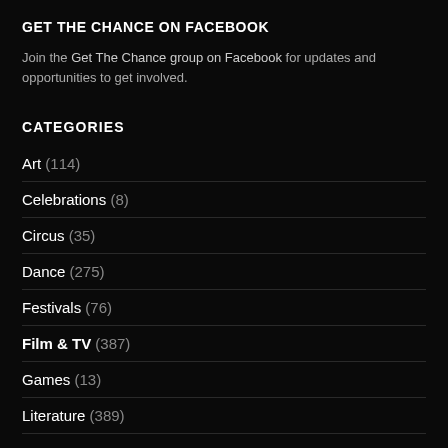GET THE CHANCE ON FACEBOOK
Join the Get The Chance group on Facebook for updates and opportunities to get involved.
CATEGORIES
Art (114)
Celebrations (8)
Circus (35)
Dance (275)
Festivals (76)
Film & TV (387)
Games (13)
Literature (389)